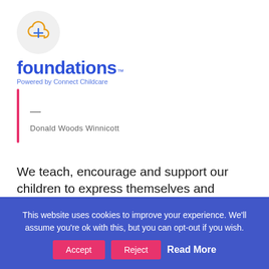[Figure (logo): Foundations logo with cloud upload icon in gray circle, blue bold text 'foundations' with TM mark, subtitle 'Powered by Connect Childcare']
— Donald Woods Winnicott
We teach, encourage and support our children to express themselves and communicate their emotions with an unrestricted licence.
This website uses cookies to improve your experience. We'll assume you're ok with this, but you can opt-out if you wish. Accept  Reject  Read More